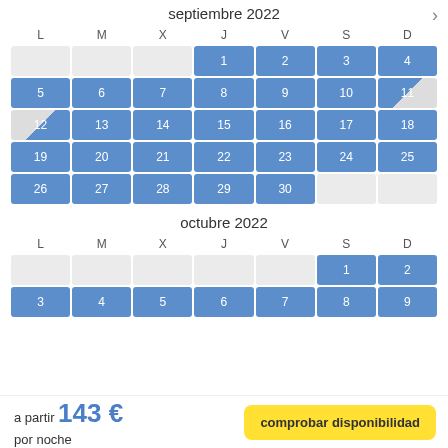septiembre 2022
| L | M | X | J | V | S | D |
| --- | --- | --- | --- | --- | --- | --- |
|  |  |  | 1 | 2 | 3 | 4 |
| 5 | 6 | 7 | 8 | 9 | 10 | 11 |
| 12 | 13 | 14 | 15 | 16 | 17 | 18 |
| 19 | 20 | 21 | 22 | 23 | 24 | 25 |
| 26 | 27 | 28 | 29 | 30 |  |  |
octubre 2022
| L | M | X | J | V | S | D |
| --- | --- | --- | --- | --- | --- | --- |
|  |  |  |  |  | 1 | 2 |
| 3 | 4 | 5 | 6 | 7 | 8 | 9 |
a partir 143 € por noche
comprobar disponibilidad